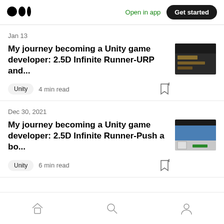Medium logo | Open in app | Get started
Jan 13
My journey becoming a Unity game developer: 2.5D Infinite Runner-URP and...
Unity  4 min read
Dec 30, 2021
My journey becoming a Unity game developer: 2.5D Infinite Runner-Push a bo...
Unity  6 min read
Home | Search | Profile